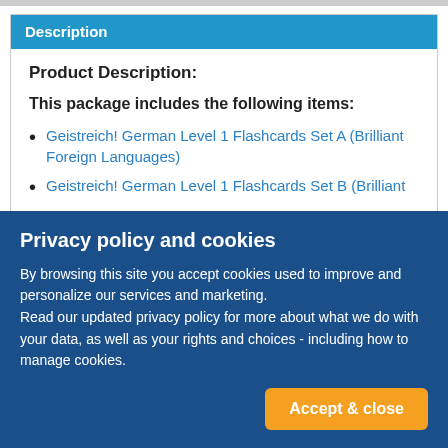Description
Product Description:
This package includes the following items:
Geistreich! German Level 1 Flashcards Set A (Brilliant Foreign Languages)
Geistreich! German Level 1 Flashcards Set B (Brilliant
Privacy policy and cookies
By browsing this site you accept cookies used to improve and personalize our services and marketing.
Read our updated privacy policy for more about what we do with your data, as well as your rights and choices - including how to manage cookies.
Accept & close